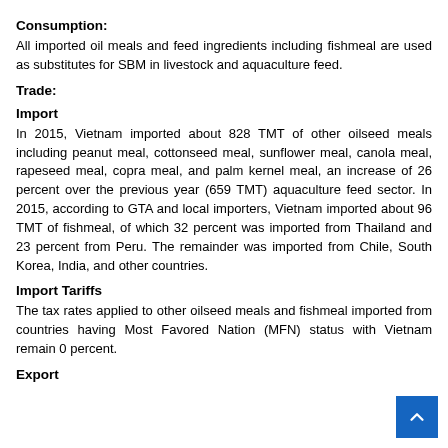Consumption:
All imported oil meals and feed ingredients including fishmeal are used as substitutes for SBM in livestock and aquaculture feed.
Trade:
Import
In 2015, Vietnam imported about 828 TMT of other oilseed meals including peanut meal, cottonseed meal, sunflower meal, canola meal, rapeseed meal, copra meal, and palm kernel meal, an increase of 26 percent over the previous year (659 TMT) aquaculture feed sector. In 2015, according to GTA and local importers, Vietnam imported about 96 TMT of fishmeal, of which 32 percent was imported from Thailand and 23 percent from Peru. The remainder was imported from Chile, South Korea, India, and other countries.
Import Tariffs
The tax rates applied to other oilseed meals and fishmeal imported from countries having Most Favored Nation (MFN) status with Vietnam remain 0 percent.
Export